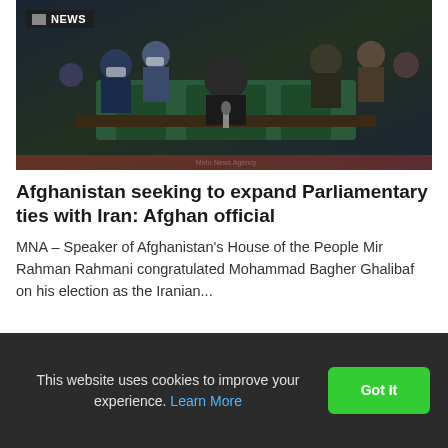[Figure (photo): Group of officials at a parliamentary session, several wearing masks, seated at green chairs and desks with microphones; a NEWS badge overlaid in top-left corner]
Afghanistan seeking to expand Parliamentary ties with Iran: Afghan official
MNA – Speaker of Afghanistan's House of the People Mir Rahman Rahmani congratulated Mohammad Bagher Ghalibaf on his election as the Iranian...
This website uses cookies to improve your experience. Learn More